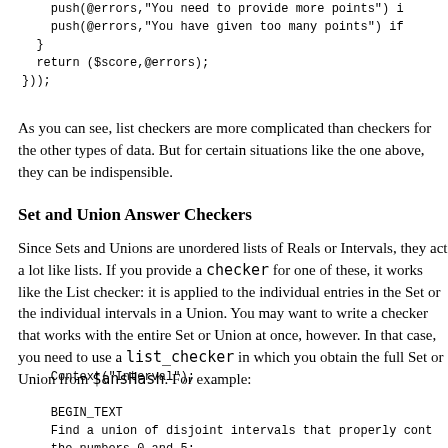push(@errors,"You need to provide more points") ...
    push(@errors,"You have given too many points") if...
  }
  return ($score,@errors);
}));
As you can see, list checkers are more complicated than checkers for the other types of data. But for certain situations like the one above, they can be indispensible.
Set and Union Answer Checkers
Since Sets and Unions are unordered lists of Reals or Intervals, they act a lot like lists. If you provide a checker for one of these, it works like the List checker: it is applied to the individual entries in the Set or the individual intervals in a Union. You may want to write a checker that works with the entire Set or Union at once, however. In that case, you need to use a list_checker in which you obtain the full Set or Union from $ansHash. For example:
Context("Interval");

BEGIN_TEXT
Find a union of disjoint intervals that properly cont...
the numbers 0 and 5:
\{ans_rule(20)\}
END_TEXT